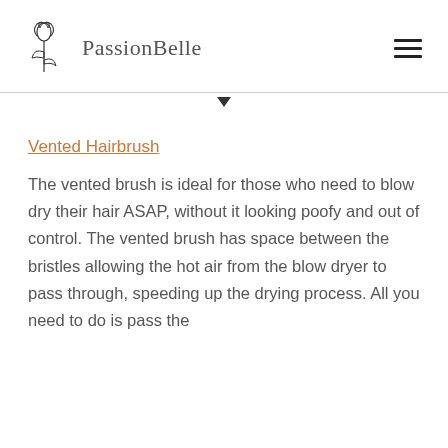PassionBelle
Vented Hairbrush
The vented brush is ideal for those who need to blow dry their hair ASAP, without it looking poofy and out of control. The vented brush has space between the bristles allowing the hot air from the blow dryer to pass through, speeding up the drying process. All you need to do is pass the